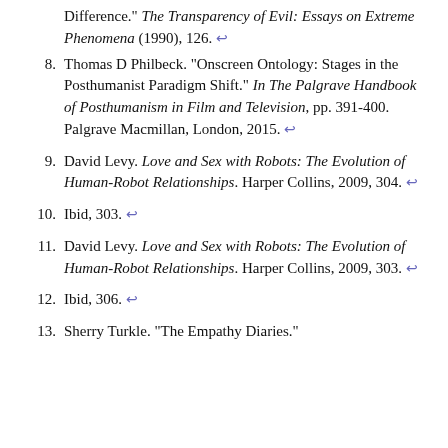Difference." The Transparency of Evil: Essays on Extreme Phenomena (1990), 126. ↩
8. Thomas D Philbeck. "Onscreen Ontology: Stages in the Posthumanist Paradigm Shift." In The Palgrave Handbook of Posthumanism in Film and Television, pp. 391-400. Palgrave Macmillan, London, 2015. ↩
9. David Levy. Love and Sex with Robots: The Evolution of Human-Robot Relationships. Harper Collins, 2009, 304. ↩
10. Ibid, 303. ↩
11. David Levy. Love and Sex with Robots: The Evolution of Human-Robot Relationships. Harper Collins, 2009, 303. ↩
12. Ibid, 306. ↩
13. Sherry Turkle. "The Empathy Diaries."